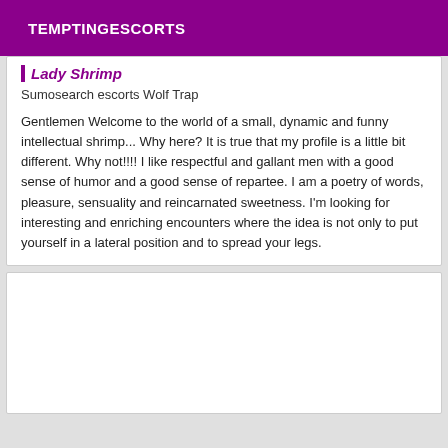TEMPTINGESCORTS
Lady Shrimp
Sumosearch escorts Wolf Trap
Gentlemen Welcome to the world of a small, dynamic and funny intellectual shrimp... Why here? It is true that my profile is a little bit different. Why not!!!! I like respectful and gallant men with a good sense of humor and a good sense of repartee. I am a poetry of words, pleasure, sensuality and reincarnated sweetness. I'm looking for interesting and enriching encounters where the idea is not only to put yourself in a lateral position and to spread your legs.